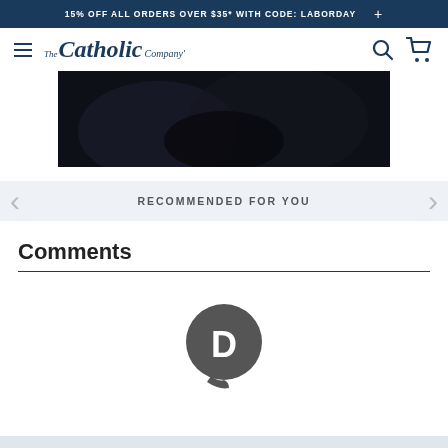15% OFF ALL ORDERS OVER $35* WITH CODE: LABORDAY  +
[Figure (logo): The Catholic Company logo with hamburger menu icon, search icon, and shopping cart icon]
[Figure (photo): Dark hero image with indistinct figures in shadow]
RECOMMENDED FOR YOU
Comments
[Figure (logo): Disqus logo icon - circular speech bubble with letter D]